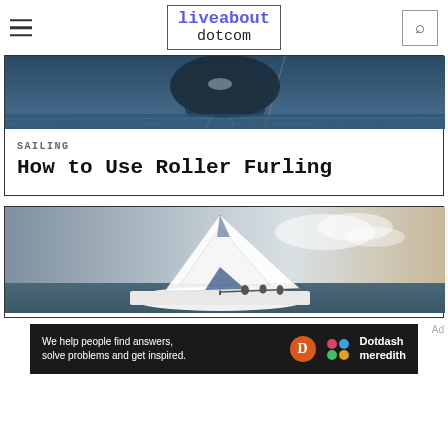liveabout dotcom
[Figure (photo): Close-up photo of a sailboat's furling mechanism and rigging hardware over water]
SAILING
How to Use Roller Furling
[Figure (photo): A white sailboat with blue trim sailing on open water under a partly cloudy sky]
We help people find answers, solve problems and get inspired. Dotdash meredith